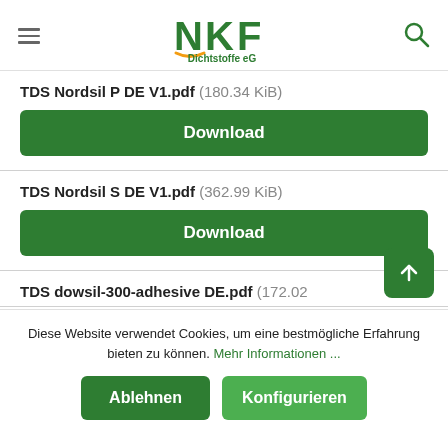[Figure (logo): NKF Dichtstoffe eG logo with green lettering and orange accent]
TDS Nordsil P DE V1.pdf (180.34 KiB)
Download
TDS Nordsil S DE V1.pdf (362.99 KiB)
Download
TDS dowsil-300-adhesive DE.pdf (172.02
Diese Website verwendet Cookies, um eine bestmögliche Erfahrung bieten zu können. Mehr Informationen ...
Ablehnen
Konfigurieren